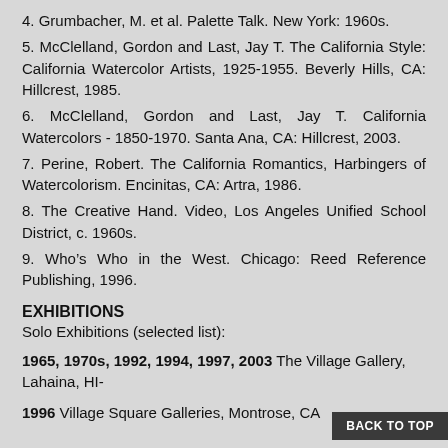4. Grumbacher, M. et al. Palette Talk. New York: 1960s.
5. McClelland, Gordon and Last, Jay T. The California Style: California Watercolor Artists, 1925-1955. Beverly Hills, CA: Hillcrest, 1985.
6. McClelland, Gordon and Last, Jay T. California Watercolors - 1850-1970. Santa Ana, CA: Hillcrest, 2003.
7. Perine, Robert. The California Romantics, Harbingers of Watercolorism. Encinitas, CA: Artra, 1986.
8. The Creative Hand. Video, Los Angeles Unified School District, c. 1960s.
9. Who's Who in the West. Chicago: Reed Reference Publishing, 1996.
EXHIBITIONS
Solo Exhibitions (selected list):
1965, 1970s, 1992, 1994, 1997, 2003 The Village Gallery, Lahaina, HI-
1996 Village Square Galleries, Montrose, CA